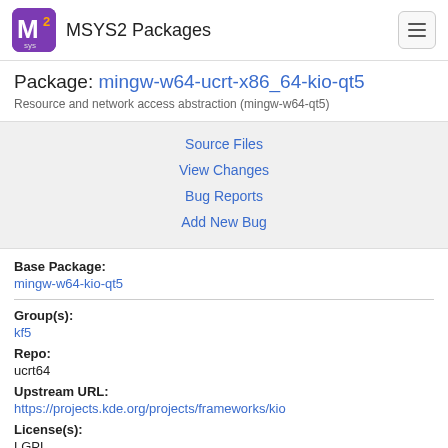MSYS2 Packages
Package: mingw-w64-ucrt-x86_64-kio-qt5
Resource and network access abstraction (mingw-w64-qt5)
Source Files
View Changes
Bug Reports
Add New Bug
Base Package:
mingw-w64-kio-qt5
Group(s):
kf5
Repo:
ucrt64
Upstream URL:
https://projects.kde.org/projects/frameworks/kio
License(s):
LGPL